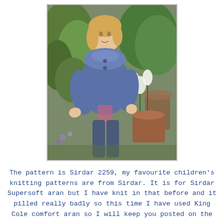[Figure (photo): A young blonde girl standing in a garden, wearing a hand-knitted blue/denim-coloured aran cardigan with decorative yoke detail and buttons. She is surrounded by green plants and white lily flowers in terracotta pots.]
The pattern is Sirdar 2259, my favourite children's knitting patterns are from Sirdar. It is for Sirdar Supersoft aran but I have knit in that before and it pilled really badly so this time I have used King Cole comfort aran so I will keep you posted on the